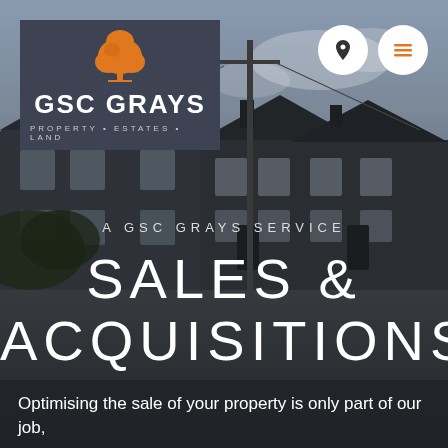[Figure (photo): Background photo of a row of stone terraced houses with a utility pole in the foreground, cloudy sky, dark toned.]
[Figure (logo): GSC Grays logo: orange tree icon above white text 'GSC GRAYS' with tagline 'PROPERTY · ESTATES · LAND' on a dark grey background panel.]
A GSC GRAYS SERVICE
SALES & ACQUISITIONS
Optimising the sale of your property is only part of our job,